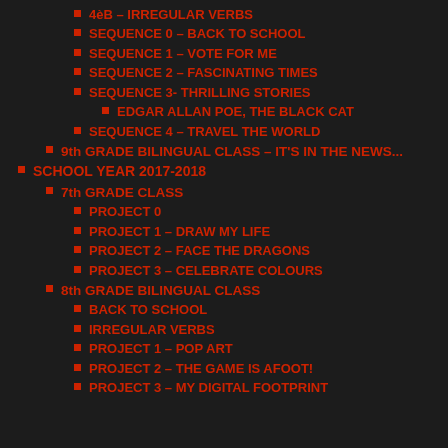4èB – IRREGULAR VERBS
SEQUENCE 0 – BACK TO SCHOOL
SEQUENCE 1 – VOTE FOR ME
SEQUENCE 2 – FASCINATING TIMES
SEQUENCE 3- THRILLING STORIES
EDGAR ALLAN POE, THE BLACK CAT
SEQUENCE 4 – TRAVEL THE WORLD
9th GRADE BILINGUAL CLASS – IT'S IN THE NEWS...
SCHOOL YEAR 2017-2018
7th GRADE CLASS
PROJECT 0
PROJECT 1 – DRAW MY LIFE
PROJECT 2 – FACE THE DRAGONS
PROJECT 3 – CELEBRATE COLOURS
8th GRADE BILINGUAL CLASS
BACK TO SCHOOL
IRREGULAR VERBS
PROJECT 1 – POP ART
PROJECT 2 – THE GAME IS AFOOT!
PROJECT 3 – MY DIGITAL FOOTPRINT